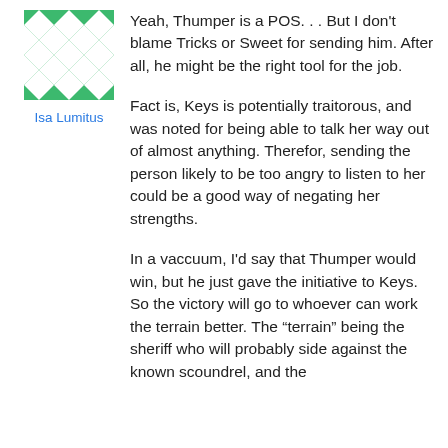[Figure (illustration): Green geometric pattern avatar icon with diamond/star shapes arranged in a grid, used as a user profile picture for Isa Lumitus]
Isa Lumitus
Yeah, Thumper is a POS. . . But I don't blame Tricks or Sweet for sending him. After all, he might be the right tool for the job.
Fact is, Keys is potentially traitorous, and was noted for being able to talk her way out of almost anything. Therefor, sending the person likely to be too angry to listen to her could be a good way of negating her strengths.
In a vaccuum, I'd say that Thumper would win, but he just gave the initiative to Keys. So the victory will go to whoever can work the terrain better. The “terrain” being the sheriff who will probably side against the known scoundrel, and the